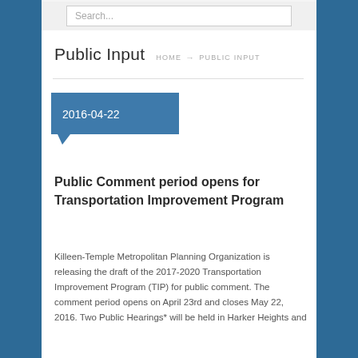Search...
Public Input
HOME → PUBLIC INPUT
2016-04-22
Public Comment period opens for Transportation Improvement Program
Killeen-Temple Metropolitan Planning Organization is releasing the draft of the 2017-2020 Transportation Improvement Program (TIP) for public comment. The comment period opens on April 23rd and closes May 22, 2016. Two Public Hearings* will be held in Harker Heights and